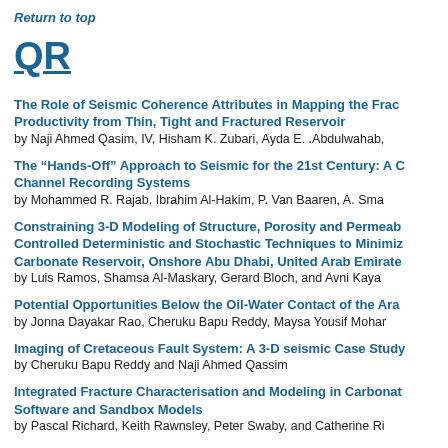Return to top
QR
The Role of Seismic Coherence Attributes in Mapping the Frac Productivity from Thin, Tight and Fractured Reservoir
by Naji Ahmed Qasim, IV, Hisham K. Zubari, Ayda E. .Abdulwahab,
The “Hands-Off” Approach to Seismic for the 21st Century: A C Channel Recording Systems
by Mohammed R. Rajab, Ibrahim Al-Hakim, P. Van Baaren, A. Sma
Constraining 3-D Modeling of Structure, Porosity and Permeab Controlled Deterministic and Stochastic Techniques to Minimiz Carbonate Reservoir, Onshore Abu Dhabi, United Arab Emirate
by Luis Ramos, Shamsa Al-Maskary, Gerard Bloch, and Avni Kaya
Potential Opportunities Below the Oil-Water Contact of the Ara
by Jonna Dayakar Rao, Cheruku Bapu Reddy, Maysa Yousif Mohar
Imaging of Cretaceous Fault System: A 3-D seismic Case Study
by Cheruku Bapu Reddy and Naji Ahmed Qassim
Integrated Fracture Characterisation and Modeling in Carbonat Software and Sandbox Models
by Pascal Richard, Keith Rawnsley, Peter Swaby, and Catherine Ri